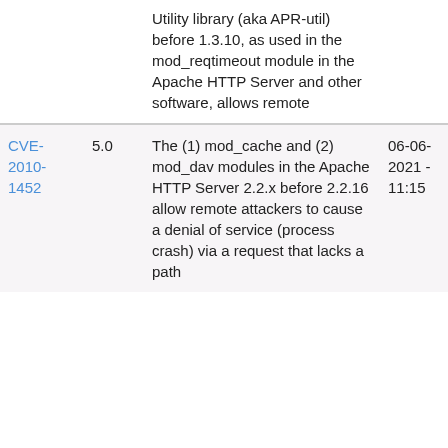| CVE | Score | Description | Date 1 | Date 2 |
| --- | --- | --- | --- | --- |
|  |  | Utility library (aka APR-util) before 1.3.10, as used in the mod_reqtimeout module in the Apache HTTP Server and other software, allows remote |  |  |
| CVE-2010-1452 | 5.0 | The (1) mod_cache and (2) mod_dav modules in the Apache HTTP Server 2.2.x before 2.2.16 allow remote attackers to cause a denial of service (process crash) via a request that lacks a path | 06-06-2021 - 11:15 | 28-07-2010 - 20:00 |